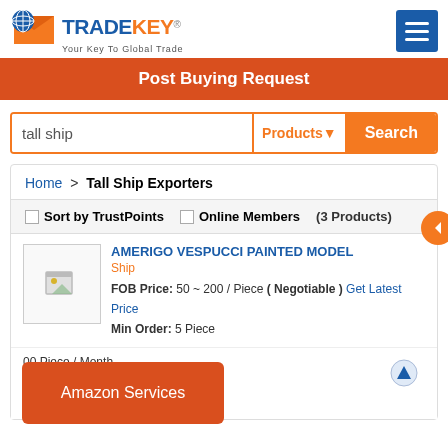[Figure (logo): TradeKey logo with globe icon, orange envelope, blue TRADE and orange KEY text, tagline 'Your Key To Global Trade']
Post Buying Request
tall ship
Products
Search
Home > Tall Ship Exporters
Sort by TrustPoints   Online Members   (3 Products)
AMERIGO VESPUCCI PAINTED MODEL
Ship
FOB Price: 50 ~ 200 / Piece ( Negotiable ) Get Latest Price
Min Order: 5 Piece
00 Piece / Month
, L/C, Western Union
Business Type: Exporters
Amazon Services